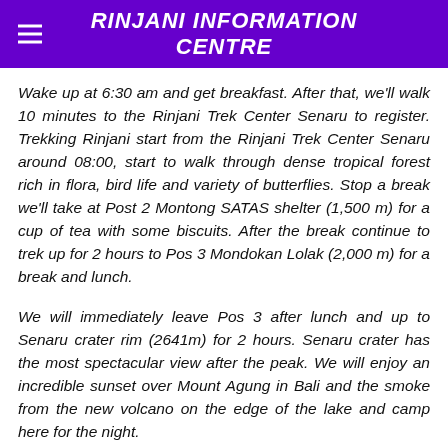RINJANI INFORMATION CENTRE
Wake up at 6:30 am and get breakfast. After that, we'll walk 10 minutes to the Rinjani Trek Center Senaru to register. Trekking Rinjani start from the Rinjani Trek Center Senaru around 08:00, start to walk through dense tropical forest rich in flora, bird life and variety of butterflies. Stop a break we'll take at Post 2 Montong SATAS shelter (1,500 m) for a cup of tea with some biscuits. After the break continue to trek up for 2 hours to Pos 3 Mondokan Lolak (2,000 m) for a break and lunch.
We will immediately leave Pos 3 after lunch and up to Senaru crater rim (2641m) for 2 hours. Senaru crater has the most spectacular view after the peak. We will enjoy an incredible sunset over Mount Agung in Bali and the smoke from the new volcano on the edge of the lake and camp here for the night.